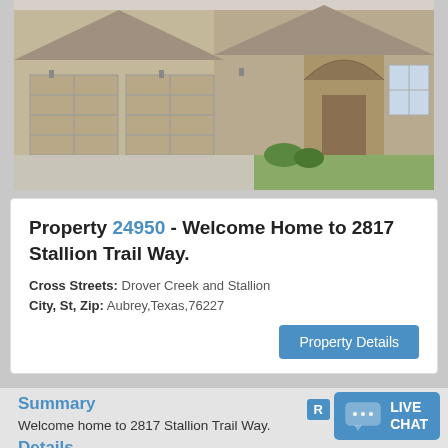[Figure (photo): Exterior photo of a brick house with two-car garage and covered entryway, concrete driveway, and small front lawn.]
Property 24950 - Welcome Home to 2817 Stallion Trail Way.
Cross Streets: Drover Creek and Stallion
City, St, Zip: Aubrey,Texas,76227
Property Details
Summary
Welcome home to 2817 Stallion Trail Way.
Details